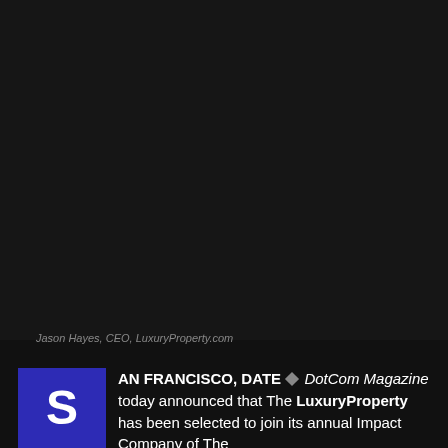[Figure (photo): Dark photograph, nearly black, showing a person in very low-light conditions — Jason Hayes, CEO, LuxuryProperty.com]
Jason Hayes, CEO, LuxuryProperty.com
AN FRANCISCO, DATE ◆ DotCom Magazine today announced that The LuxuryProperty has been selected to join its annual Impact Company of The